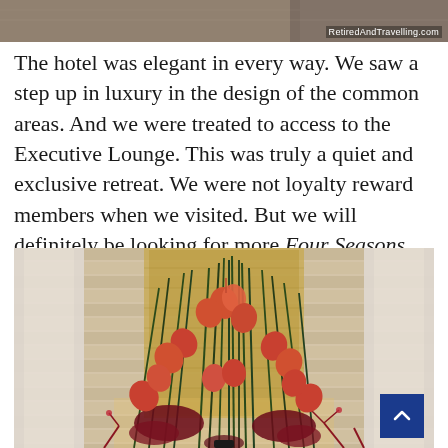[Figure (photo): Top portion of hotel interior photo, partially cropped, with RetiredAndTravelling.com watermark in bottom right]
The hotel was elegant in every way. We saw a step up in luxury in the design of the common areas. And we were treated to access to the Executive Lounge. This was truly a quiet and exclusive retreat. We were not loyalty reward members when we visited. But we will definitely be looking for more Four Seasons stays!
[Figure (photo): Hotel lobby floral arrangement featuring tall grass stalks, red/orange anthurium flowers, deep red foliage clusters, set against a gold textured wall panel and white marble columns]